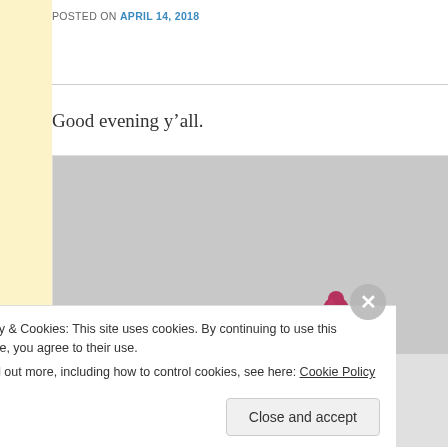POSTED ON APRIL 14, 2018
Good evening y’all.
[Figure (photo): A pink/magenta baby bottle nipple and top portion of a baby bottle on a light grey background, partially cropped at the bottom of the frame.]
Privacy & Cookies: This site uses cookies. By continuing to use this website, you agree to their use.
To find out more, including how to control cookies, see here: Cookie Policy
Close and accept